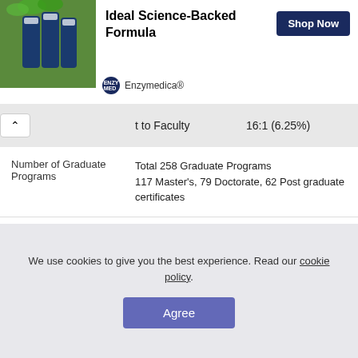[Figure (screenshot): Advertisement banner for Enzymedica showing green supplement bottles with text 'Ideal Science-Backed Formula' and a 'Shop Now' button]
|  |  |
| --- | --- |
| t to Faculty | 16:1 (6.25%) |
| Number of Graduate Programs | Total 258 Graduate Programs
117 Master's, 79 Doctorate, 62 Post graduate certificates |
2022 Graduate Tuition & Fees
We use cookies to give you the best experience. Read our cookie policy.